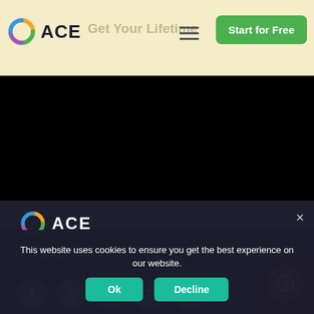[Figure (logo): ACE logo with colorful circular icon and text 'ACE' in nav bar with 'Get Your Lifetime' promo text, hamburger menu, and 'Start for Free' green button]
[Figure (photo): Black band / dark image area below the navigation banner]
[Figure (logo): ACE logo in white on dark footer background with circular icon]
© Copyright 2021, ACE
[Figure (infographic): Row of 5 circular social media icons (Facebook, Twitter, LinkedIn, another, YouTube) on dark background]
This website uses cookies to ensure you get the best experience on our website.
Ok
Decline